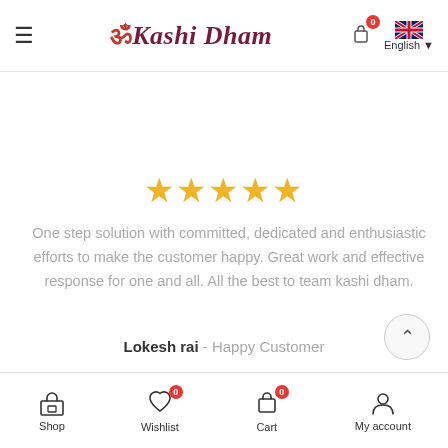≡ ॐKashi Dham [cart:0] English
[Figure (other): Five gold star rating icons]
One step solution with committed, dedicated and enthusiastic efforts to make the customer happy. Great work and effective response for one and all. All the best to team kashi dham.
Lokesh rai - Happy Customer
Shop | Wishlist (0) | Cart (0) | My account